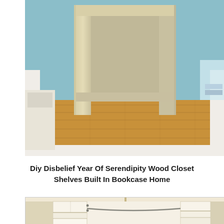[Figure (photo): Photo of a DIY wood closet shelf frame/bookcase built-in, showing wooden shelf columns and horizontal shelves in a room with blue walls and hardwood floors, with white baseboards visible]
Diy Disbelief Year Of Serendipity Wood Closet Shelves Built In Bookcase Home
[Figure (photo): Photo of a white built-in closet storage system with multiple white shelving units and a curved closet rod, illuminated by ceiling light, showing organized closet space]